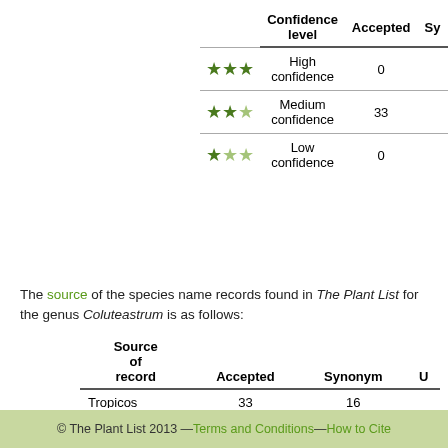|  | Confidence level | Accepted | Sy |
| --- | --- | --- | --- |
| ★★★ | High confidence | 0 |  |
| ★★☆ | Medium confidence | 33 |  |
| ★☆☆ | Low confidence | 0 |  |
The source of the species name records found in The Plant List for the genus Coluteastrum is as follows:
| Source of record | Accepted | Synonym | U |
| --- | --- | --- | --- |
| Tropicos | 33 | 16 |  |
| WCSP (in review) | 0 | 0 |  |
© The Plant List 2013 — Terms and Conditions — How to Cite